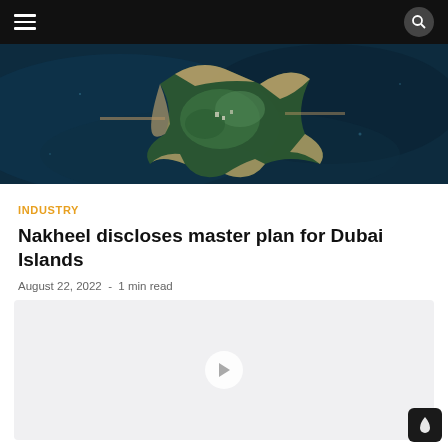Navigation bar with hamburger menu and search icon
[Figure (photo): Aerial view of Dubai Islands development showing a star-shaped island with greenery and beaches surrounded by dark blue water]
INDUSTRY
Nakheel discloses master plan for Dubai Islands
August 22, 2022  -  1 min read
[Figure (other): Media/video placeholder with play button icon on light gray background]